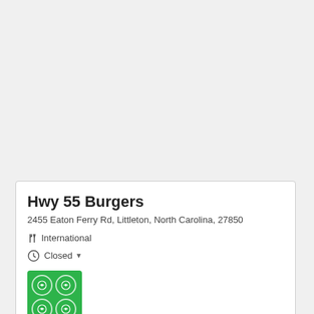Hwy 55 Burgers
2455 Eaton Ferry Rd, Littleton, North Carolina, 27850
International
Closed
[Figure (logo): Green square grid icon with 4 circular emblems]
Contact
Location
Top